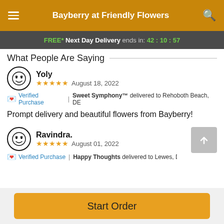Bayberry at Friendly Flowers
FREE* Next Day Delivery ends in: 42:10:57
What People Are Saying
Yoly
★★★★★ August 18, 2022
💌 Verified Purchase | Sweet Symphony™ delivered to Rehoboth Beach, DE
Prompt delivery and beautiful flowers from Bayberry!
Ravindra.
★★★★★ August 01, 2022
💌 Verified Purchase | Happy Thoughts delivered to Lewes, DE
Start Order